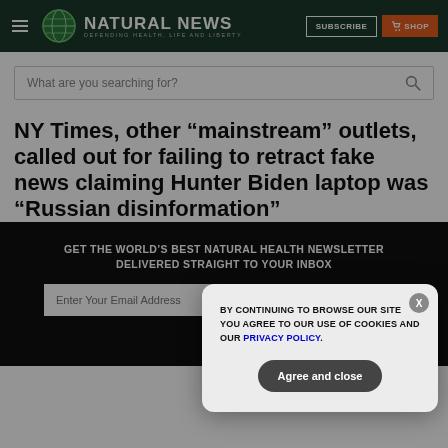NATURAL NEWS — DEFENDING HEALTH, LIFE AND LIBERTY
What are you searching for?
NY Times, other “mainstream” outlets, called out for failing to retract fake news claiming Hunter Biden laptop was “Russian disinformation”
GET THE WORLD'S BEST NATURAL HEALTH NEWSLETTER DELIVERED STRAIGHT TO YOUR INBOX
BY CONTINUING TO BROWSE OUR SITE YOU AGREE TO OUR USE OF COOKIES AND OUR PRIVACY POLICY.
Agree and close